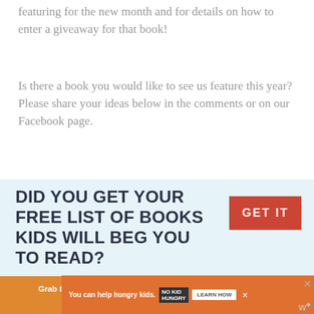featuring for the new month and for details on how to enter a giveaway for that book!
Is there a book you would like to see us feature this year? Please share your ideas below in the comments or on our Facebook page.
[Figure (infographic): Promotional box with light blue background. Large dark text reads 'DID YOU GET YOUR FREE LIST OF BOOKS KIDS WILL BEG YOU TO READ?' with a red 'GET IT' button on the right.]
Grab the list of 100 Books Every Child Should Hear Before Kindergarten.
[Figure (infographic): Orange advertisement banner: 'You can help hungry kids.' with No Kid Hungry logo and 'LEARN HOW' button. Close X button visible.]